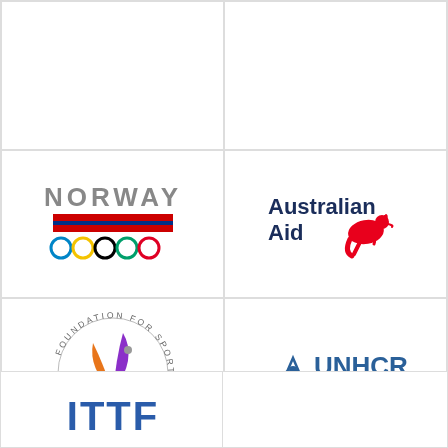[Figure (logo): Norway Olympic Committee logo with 'NORWAY' text, red/blue flag stripes, and Olympic rings]
[Figure (logo): Australian Aid logo with bold dark blue text 'Australian Aid' and red kangaroo]
[Figure (logo): Foundation for Sport & Development & Peace circular logo with orange and purple bird/wing design]
[Figure (logo): UNHCR - The UN Refugee Agency logo with blue tent/person icon and bold text]
[Figure (logo): ITTF logo in blue letters (partial, cut off at bottom)]